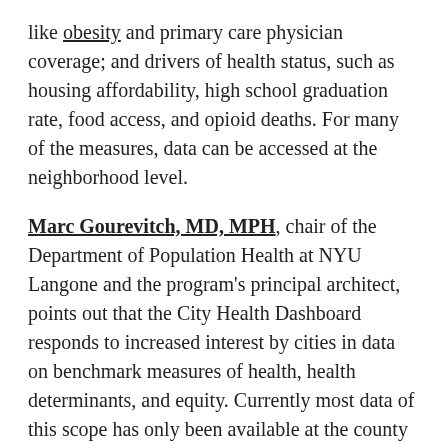like obesity and primary care physician coverage; and drivers of health status, such as housing affordability, high school graduation rate, food access, and opioid deaths. For many of the measures, data can be accessed at the neighborhood level.
Marc Gourevitch, MD, MPH, chair of the Department of Population Health at NYU Langone and the program's principal architect, points out that the City Health Dashboard responds to increased interest by cities in data on benchmark measures of health, health determinants, and equity. Currently most data of this scope has only been available at the county level—posing challenges to urban health improvement efforts.
“There is an old adage: ‘what gets measured is what gets done,” Dr. Gourevitch says. “Community leaders want accurate, actionable, and precise data to advance initiatives